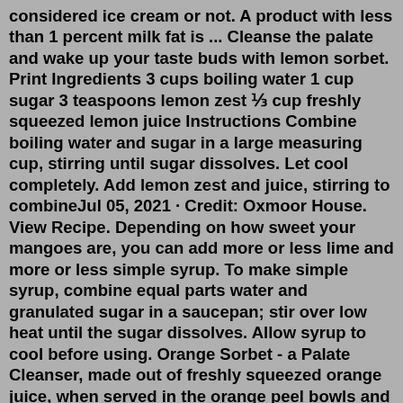considered ice cream or not. A product with less than 1 percent milk fat is ... Cleanse the palate and wake up your taste buds with lemon sorbet. Print Ingredients 3 cups boiling water 1 cup sugar 3 teaspoons lemon zest ⅓ cup freshly squeezed lemon juice Instructions Combine boiling water and sugar in a large measuring cup, stirring until sugar dissolves. Let cool completely. Add lemon zest and juice, stirring to combineJul 05, 2021 · Credit: Oxmoor House. View Recipe. Depending on how sweet your mangoes are, you can add more or less lime and more or less simple syrup. To make simple syrup, combine equal parts water and granulated sugar in a saucepan; stir over low heat until the sugar dissolves. Allow syrup to cool before using. Orange Sorbet - a Palate Cleanser, made out of freshly squeezed orange juice, when served in the orange peel bowls and garnished with mint leaves, makes poetry on a plate. We've had a bumper crop of oranges this year on our backyard tree, and one of the quick Palate Cleansers / Desserts I like to make is Orange Sorbet May 20, 2022